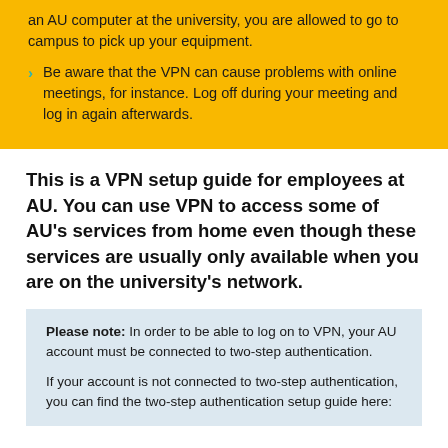an AU computer at the university, you are allowed to go to campus to pick up your equipment.
Be aware that the VPN can cause problems with online meetings, for instance. Log off during your meeting and log in again afterwards.
This is a VPN setup guide for employees at AU. You can use VPN to access some of AU's services from home even though these services are usually only available when you are on the university's network.
Please note: In order to be able to log on to VPN, your AU account must be connected to two-step authentication.

If your account is not connected to two-step authentication, you can find the two-step authentication setup guide here: